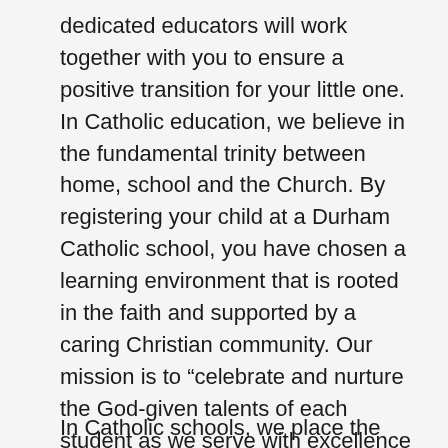dedicated educators will work together with you to ensure a positive transition for your little one. In Catholic education, we believe in the fundamental trinity between home, school and the Church. By registering your child at a Durham Catholic school, you have chosen a learning environment that is rooted in the faith and supported by a caring Christian community. Our mission is to “celebrate and nurture the God-given talents of each student as we serve with excellence in the light of Christ.” We are guided in this mission by our common commitment to support our students as they strive to attain the Ontario Catholic Graduate Expectations.
In Catholic schools, we place the